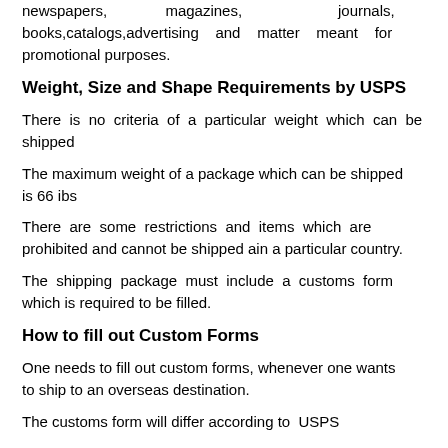newspapers, magazines, journals, books,catalogs,advertising and matter meant for promotional purposes.
Weight, Size and Shape Requirements by USPS
There is no criteria of a particular weight which can be shipped
The maximum weight of a package which can be shipped is 66 ibs
There are some restrictions and items which are prohibited and cannot be shipped ain a particular country.
The shipping package must include a customs form which is required to be filled.
How to fill out Custom Forms
One needs to fill out custom forms, whenever one wants to ship to an overseas destination.
The customs form will differ according to USPS